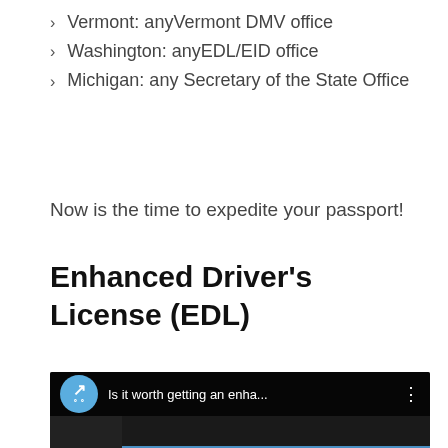Vermont: anyVermont DMV office
Washington: anyEDL/EID office
Michigan: any Secretary of the State Office
Now is the time to expedite your passport!
Enhanced Driver's License (EDL)
[Figure (screenshot): YouTube video thumbnail showing 'Is it worth getting an enha...' with a blue banner reading 'Is it worth getting' and a woman's partial face on the left]